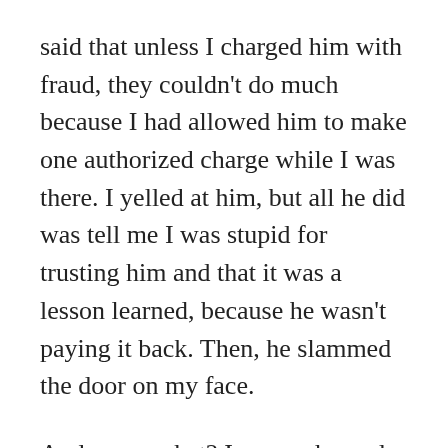said that unless I charged him with fraud, they couldn't do much because I had allowed him to make one authorized charge while I was there. I yelled at him, but all he did was tell me I was stupid for trusting him and that it was a lesson learned, because he wasn't paying it back. Then, he slammed the door on my face.
And guess what? I never charged Douchebag. I never sued him. In fact, I stayed with him, spending at least another $2000 on him, being abused continually, for another 6 months. I didn't break that bad habit until Jay came along in April of 2011. For those who remember Jay, although he didn't have money either, he at least didn't see me